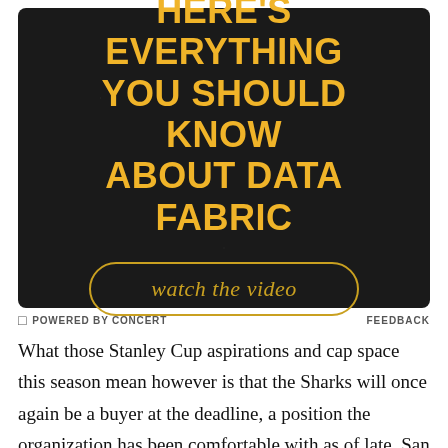[Figure (infographic): Dark advertisement banner with yellow bold text reading 'HERE'S EVERYTHING YOU SHOULD KNOW ABOUT DATA FABRIC' and a button labeled 'watch the video' in italic gold text with rounded border]
POWERED BY CONCERT   FEEDBACK
What those Stanley Cup aspirations and cap space this season mean however is that the Sharks will once again be a buyer at the deadline, a position the organization has been comfortable with as of late. San Jose hasn't subtracted a significant piece from the